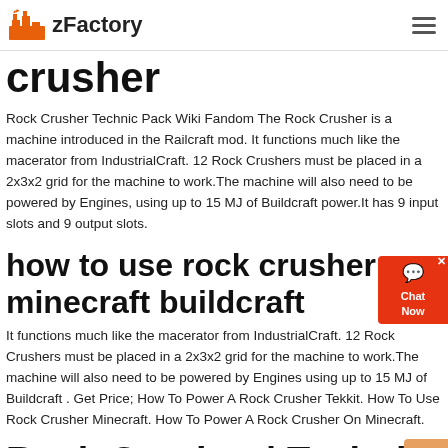zFactory
crusher
Rock Crusher Technic Pack Wiki Fandom The Rock Crusher is a machine introduced in the Railcraft mod. It functions much like the macerator from IndustrialCraft. 12 Rock Crushers must be placed in a 2x3x2 grid for the machine to work.The machine will also need to be powered by Engines, using up to 15 MJ of Buildcraft power.It has 9 input slots and 9 output slots.
how to use rock crusher minecraft buildcraft
It functions much like the macerator from IndustrialCraft. 12 Rock Crushers must be placed in a 2x3x2 grid for the machine to work.The machine will also need to be powered by Engines using up to 15 MJ of Buildcraft . Get Price; How To Power A Rock Crusher Tekkit. How To Use Rock Crusher Minecraft. How To Power A Rock Crusher On Minecraft.
Rock Crusher | Technic Pack